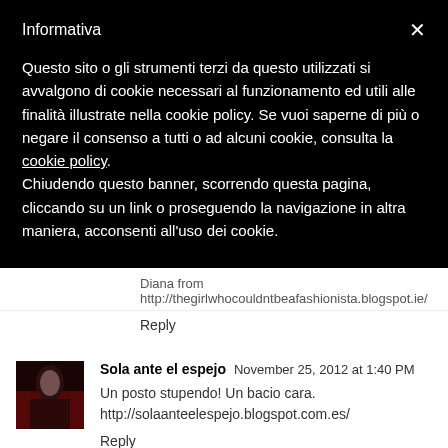Informativa
Questo sito o gli strumenti terzi da questo utilizzati si avvalgono di cookie necessari al funzionamento ed utili alle finalità illustrate nella cookie policy. Se vuoi saperne di più o negare il consenso a tutti o ad alcuni cookie, consulta la cookie policy.
Chiudendo questo banner, scorrendo questa pagina, cliccando su un link o proseguendo la navigazione in altra maniera, acconsenti all'uso dei cookie.
Diana from http://thegirlwhocouldntbeafashionista.blogspot.ie/
Reply
Sola ante el espejo  November 25, 2012 at 1:40 PM
Un posto stupendo! Un bacio cara.
http://solaanteelespejo.blogspot.com.es/
Reply